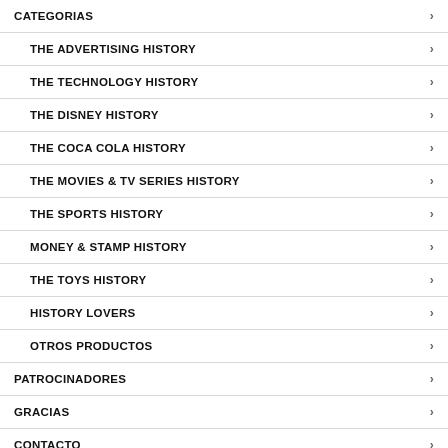CATEGORIAS
THE ADVERTISING HISTORY
THE TECHNOLOGY HISTORY
THE DISNEY HISTORY
THE COCA COLA HISTORY
THE MOVIES & TV SERIES HISTORY
THE SPORTS HISTORY
MONEY & STAMP HISTORY
THE TOYS HISTORY
HISTORY LOVERS
OTROS PRODUCTOS
PATROCINADORES
GRACIAS
CONTACTO